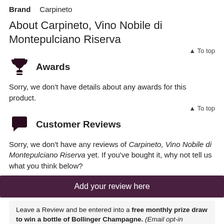Brand   Carpineto
About Carpineto, Vino Nobile di Montepulciano Riserva
▲ To top
Awards
Sorry, we don't have details about any awards for this product.
▲ To top
Customer Reviews
Sorry, we don't have any reviews of Carpineto, Vino Nobile di Montepulciano Riserva yet. If you've bought it, why not tell us what you think below?
Add your review here
Leave a Review and be entered into a free monthly prize draw to win a bottle of Bollinger Champagne. (Email opt-in required. Ensure the opt-in box is ticked or your entry may not